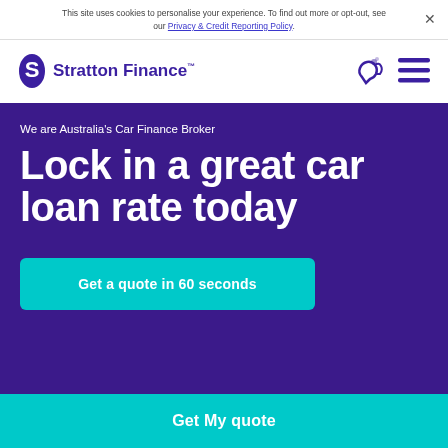This site uses cookies to personalise your experience. To find out more or opt-out, see our Privacy & Credit Reporting Policy.
[Figure (logo): Stratton Finance logo with stylized 'S' icon and wordmark]
We are Australia's Car Finance Broker
Lock in a great car loan rate today
Get a quote in 60 seconds
Get My quote